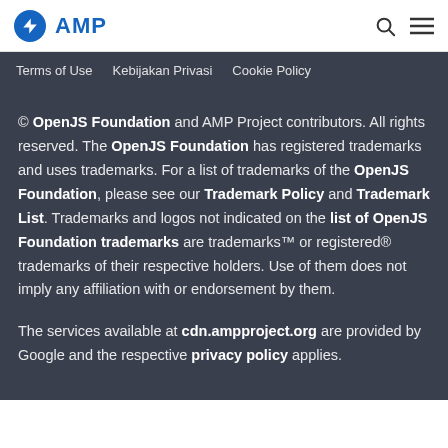AMP
Terms of Use   Kebijakan Privasi   Cookie Policy
© OpenJS Foundation and AMP Project contributors. All rights reserved. The OpenJS Foundation has registered trademarks and uses trademarks. For a list of trademarks of the OpenJS Foundation, please see our Trademark Policy and Trademark List. Trademarks and logos not indicated on the list of OpenJS Foundation trademarks are trademarks™ or registered® trademarks of their respective holders. Use of them does not imply any affiliation with or endorsement by them.
The services available at cdn.ampproject.org are provided by Google and the respective privacy policy applies.